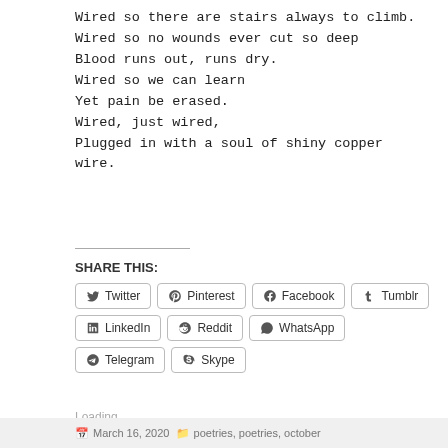Wired so there are stairs always to climb.
Wired so no wounds ever cut so deep
Blood runs out, runs dry.
Wired so we can learn
Yet pain be erased.
Wired, just wired,
Plugged in with a soul of shiny copper wire.
SHARE THIS:
Twitter  Pinterest  Facebook  Tumblr  LinkedIn  Reddit  WhatsApp  Telegram  Skype
Loading...
March 16, 2020  poetries, poetries, october